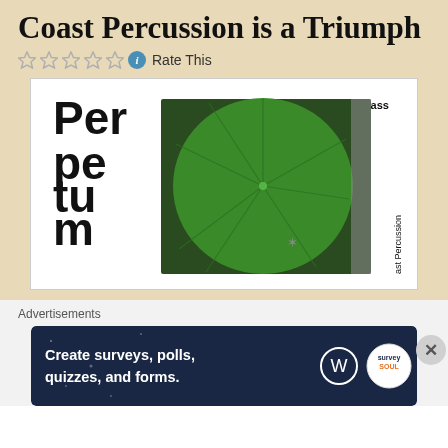Coast Percussion is a Triumph
Rate This
[Figure (photo): Album cover for 'Perpetuum' by Philip Glass performed by Coast Percussion. Large bold stacked text reading 'Perpetuum' on the left side, 'Philip Glass' in smaller text upper right, 'Coast Percussion' vertical on the right side, with a large circular green leaf image in the center-right portion of the cover.]
Advertisements
[Figure (screenshot): Advertisement banner with dark blue background reading 'Create surveys, polls, quizzes, and forms.' with WordPress logo and a circular Survey Soul badge icon on the right.]